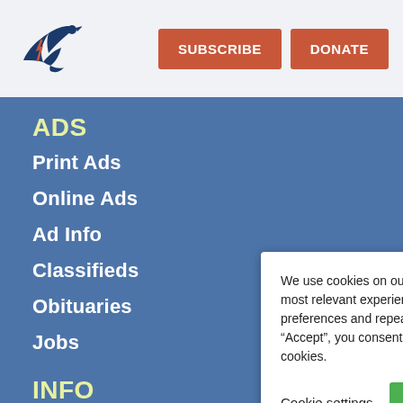[Figure (logo): Bird/eagle logo icon in dark blue]
SUBSCRIBE
DONATE
ADS
Print Ads
Online Ads
Ad Info
Classifieds
Obituaries
Jobs
INFO
Subscribe
Contact Us
We use cookies on our website to give you the most relevant experience by remembering your preferences and repeat visits. By clicking “Accept”, you consent to the use of ALL the cookies.
Cookie settings
ACCEPT